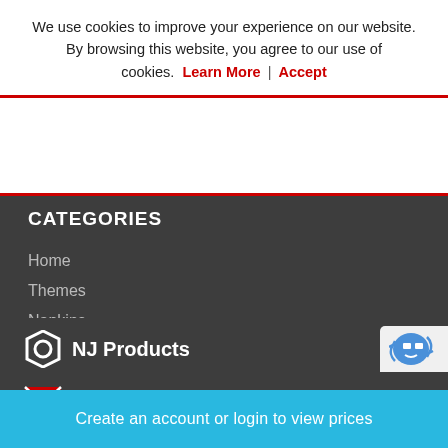We use cookies to improve your experience on our website. By browsing this website, you agree to our use of cookies. Learn More | Accept
CATEGORIES
Home
Themes
Napkins
CONNECT WITH US
[Figure (illustration): Social media icons: email (envelope), Facebook (f), Twitter (bird), all in red on dark background]
[Figure (logo): NJ Products logo - hexagon icon and text 'NJ Products' in white on dark background]
Create an account or login to view prices